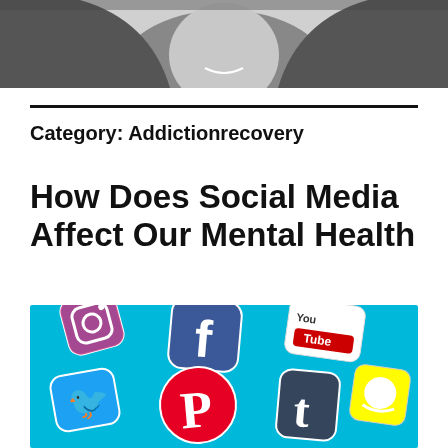[Figure (photo): Black and white photo of a smiling person wearing a hoodie, cropped at the top of the page]
Category: Addictionrecovery
How Does Social Media Affect Our Mental Health
[Figure (photo): Colorful social media logos on a bright blue background including Instagram, Facebook, YouTube, Twitter, Pinterest, Tumblr, and Snapchat icons]